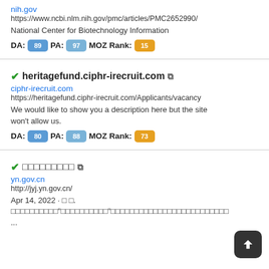nih.gov
https://www.ncbi.nlm.nih.gov/pmc/articles/PMC2652990/
National Center for Biotechnology Information
DA: 89  PA: 97  MOZ Rank: 15
heritagefund.ciphr-irecruit.com
ciphr-irecruit.com
https://heritagefund.ciphr-irecruit.com/Applicants/vacancy
We would like to show you a description here but the site won't allow us.
DA: 80  PA: 88  MOZ Rank: 73
yn.gov.cn
http://jyj.yn.gov.cn/
Apr 14, 2022 · ...